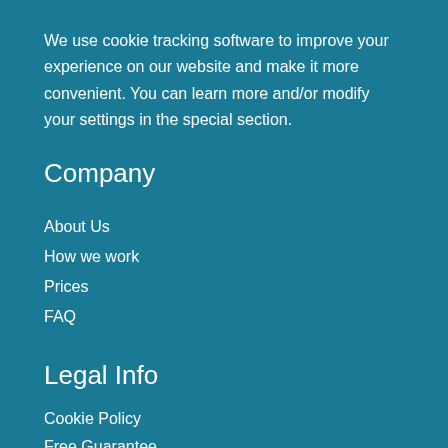We use cookie tracking software to improve your experience on our website and make it more convenient. You can learn more and/or modify your settings in the special section.
Company
About Us
How we work
Prices
FAQ
Legal Info
Cookie Policy
Free Guarantee